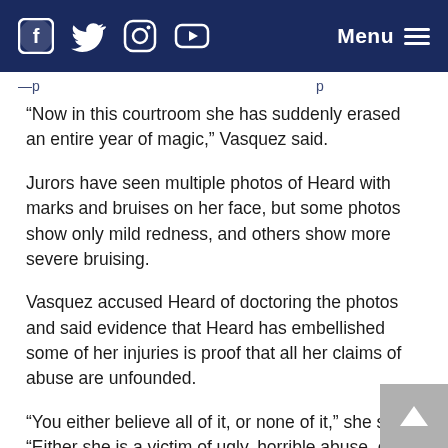Menu [navigation bar with social media icons: Facebook, Twitter, Instagram, YouTube]
“Now in this courtroom she has suddenly erased an entire year of magic,” Vasquez said.
Jurors have seen multiple photos of Heard with marks and bruises on her face, but some photos show only mild redness, and others show more severe bruising.
Vasquez accused Heard of doctoring the photos and said evidence that Heard has embellished some of her injuries is proof that all her claims of abuse are unfounded.
“You either believe all of it, or none of it,” she said. “Either she is a victim of ugly, horrible abuse, or she is a woman who is willing to say absolutely anything.”